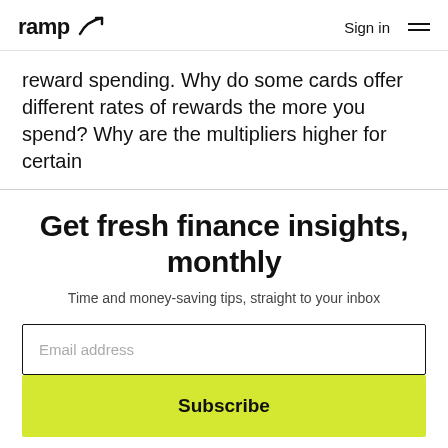ramp  Sign in
reward spending. Why do some cards offer different rates of rewards the more you spend? Why are the multipliers higher for certain
Get fresh finance insights, monthly
Time and money-saving tips, straight to your inbox
Email address
Subscribe
No, thank you